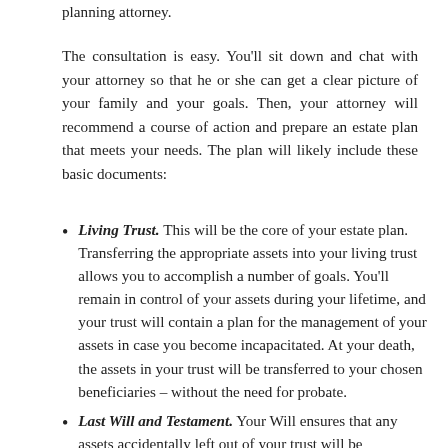planning attorney.
The consultation is easy. You'll sit down and chat with your attorney so that he or she can get a clear picture of your family and your goals. Then, your attorney will recommend a course of action and prepare an estate plan that meets your needs. The plan will likely include these basic documents:
Living Trust. This will be the core of your estate plan. Transferring the appropriate assets into your living trust allows you to accomplish a number of goals. You'll remain in control of your assets during your lifetime, and your trust will contain a plan for the management of your assets in case you become incapacitated. At your death, the assets in your trust will be transferred to your chosen beneficiaries – without the need for probate.
Last Will and Testament. Your Will ensures that any assets accidentally left out of your trust will be transferred to your trust and distributed according to your wishes. If you